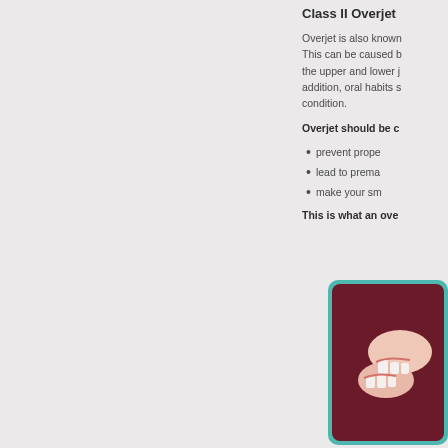Class II Overjet
Overjet is also known as... This can be caused by... the upper and lower j... addition, oral habits s... condition.
Overjet should be c...
prevent prope...
lead to prema...
make your sm...
This is what an ove...
[Figure (illustration): Illustration of a dental overjet condition showing teeth profile/cross-section on dark red background with teal border]